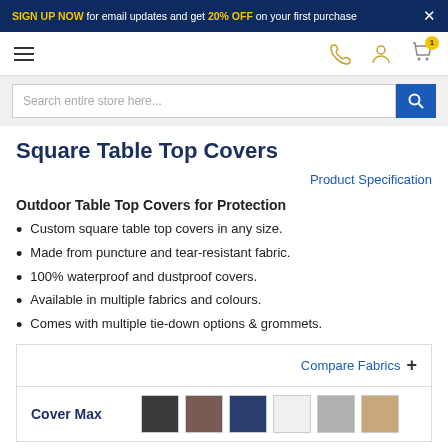SIGN UP NOW for email updates and get 20% OFF on your first purchase
[Figure (screenshot): Navigation bar with hamburger menu, phone icon, user icon, and shopping cart icon with yellow badge]
Search entire store here...
Square Table Top Covers
Product Specification
Outdoor Table Top Covers for Protection
Custom square table top covers in any size.
Made from puncture and tear-resistant fabric.
100% waterproof and dustproof covers.
Available in multiple fabrics and colours.
Comes with multiple tie-down options & grommets.
Compare Fabrics +
Cover Max